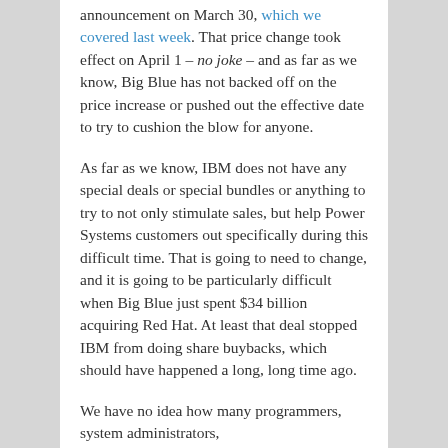announcement on March 30, which we covered last week. That price change took effect on April 1 – no joke – and as far as we know, Big Blue has not backed off on the price increase or pushed out the effective date to try to cushion the blow for anyone.
As far as we know, IBM does not have any special deals or special bundles or anything to try to not only stimulate sales, but help Power Systems customers out specifically during this difficult time. That is going to need to change, and it is going to be particularly difficult when Big Blue just spent $34 billion acquiring Red Hat. At least that deal stopped IBM from doing share buybacks, which should have happened a long, long time ago.
We have no idea how many programmers, system administrators,